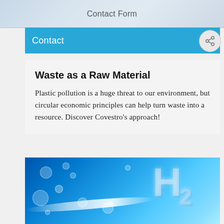Contact Form
Contact
CIRCULAR ECONOMY
Waste as a Raw Material
Plastic pollution is a huge threat to our environment, but circular economic principles can help turn waste into a resource. Discover Covestro's approach!
[Figure (photo): Blue-toned image showing H2 (hydrogen) text rendered in ice/crystal 3D letters against a bright blue background with water droplets and bubbles, with a white lens flare light beam.]